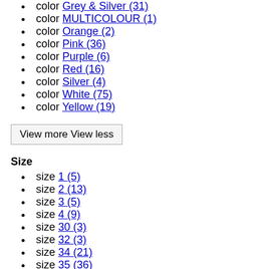color Grey & Silver (31)
color MULTICOLOUR (1)
color Orange (2)
color Pink (36)
color Purple (6)
color Red (16)
color Silver (4)
color White (75)
color Yellow (19)
View more View less
Size
size 1 (5)
size 2 (13)
size 3 (5)
size 4 (9)
size 30 (3)
size 32 (3)
size 34 (21)
size 35 (36)
size 36 (46)
size 36.5 (2)
size 37 (38)